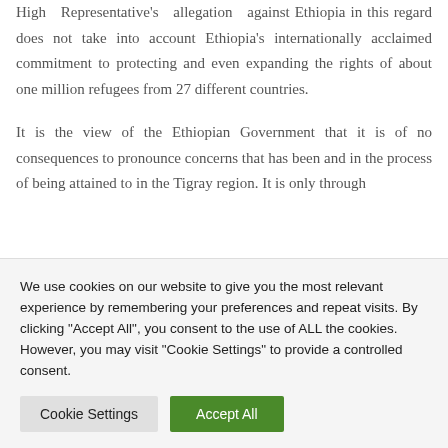High Representative's allegation against Ethiopia in this regard does not take into account Ethiopia's internationally acclaimed commitment to protecting and even expanding the rights of about one million refugees from 27 different countries.

It is the view of the Ethiopian Government that it is of no consequences to pronounce concerns that has been and in the process of being attained to in the Tigray region. It is only through
We use cookies on our website to give you the most relevant experience by remembering your preferences and repeat visits. By clicking "Accept All", you consent to the use of ALL the cookies. However, you may visit "Cookie Settings" to provide a controlled consent.